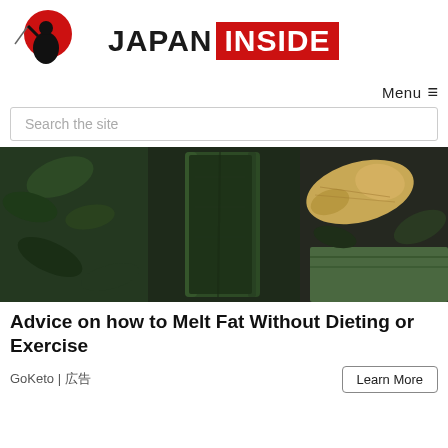[Figure (logo): Japan Inside logo: samurai figure with red sun circle on left, then JAPAN INSIDE text where INSIDE is on a red background]
Menu ≡
Search the site
[Figure (photo): Dark green smoothie in a glass jar with ginger root beside it and dark leafy greens around, on a dark slate background]
Advice on how to Melt Fat Without Dieting or Exercise
GoKeto | 広告